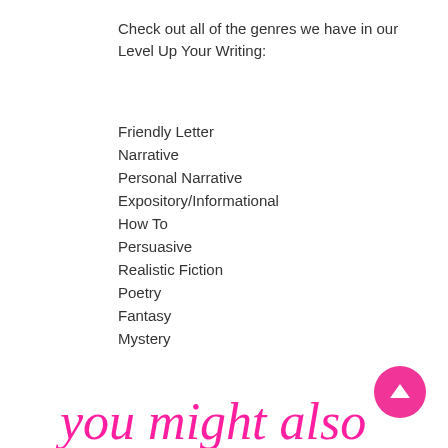Check out all of the genres we have in our Level Up Your Writing:
Friendly Letter
Narrative
Personal Narrative
Expository/Informational
How To
Persuasive
Realistic Fiction
Poetry
Fantasy
Mystery
you might also